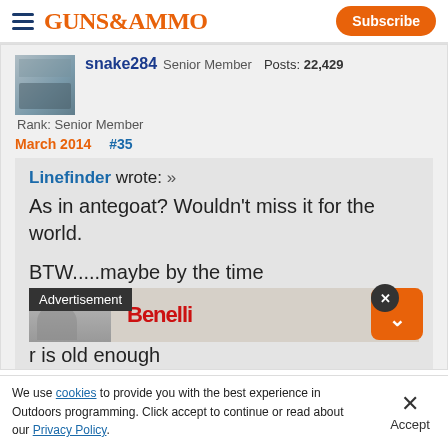GUNS&AMMO | Subscribe
snake284  Senior Member  Posts: 22,429  Rank: Senior Member
March 2014  #35
Linefinder wrote: »
As in antegoat? Wouldn't miss it for the world.

BTW.....maybe by the time r is old enough
[Figure (screenshot): Advertisement banner overlay with person in winter setting and Benelli logo text]
We use cookies to provide you with the best experience in Outdoors programming. Click accept to continue or read about our Privacy Policy.